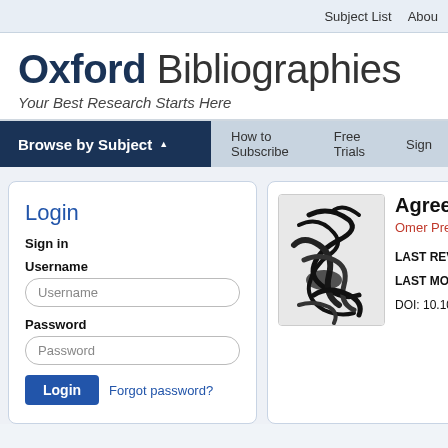Subject List   About
Oxford Bibliographies
Your Best Research Starts Here
Browse by Subject   How to Subscribe   Free Trials   Sign
Login
Sign in
Username
Username
Password
Password
Login   Forgot password?
[Figure (photo): Black and white photo of Chinese calligraphy brushwork]
Agreem
Omer Prem
LAST REVIE
LAST MODIF
DOI: 10.1093